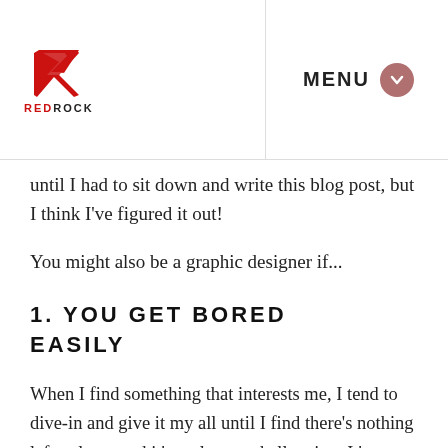REDROCK | MENU
until I had to sit down and write this blog post, but I think I've figured it out!
You might also be a graphic designer if...
1. YOU GET BORED EASILY
When I find something that interests me, I tend to dive-in and give it my all until I find there's nothing left to learn and it's no longer challenging. It's at that point where I become bored, lose interest and